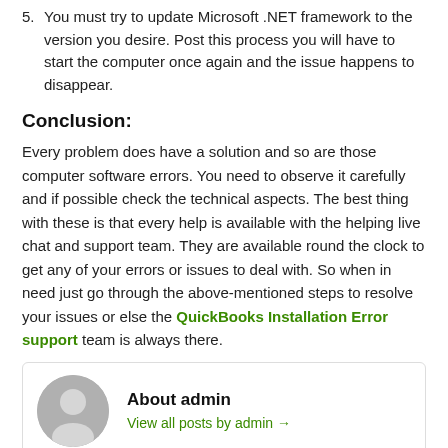5. You must try to update Microsoft .NET framework to the version you desire. Post this process you will have to start the computer once again and the issue happens to disappear.
Conclusion:
Every problem does have a solution and so are those computer software errors. You need to observe it carefully and if possible check the technical aspects. The best thing with these is that every help is available with the helping live chat and support team. They are available round the clock to get any of your errors or issues to deal with. So when in need just go through the above-mentioned steps to resolve your issues or else the QuickBooks Installation Error support team is always there.
About admin
View all posts by admin →